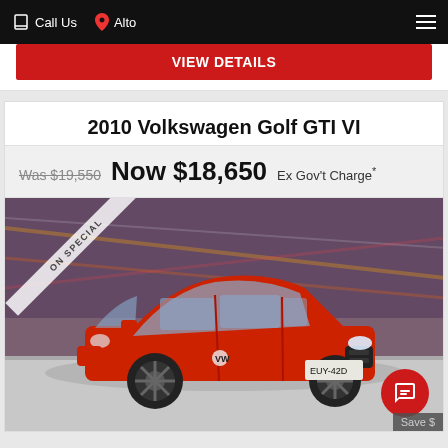Call Us   Alto
View Details
2010 Volkswagen Golf GTI VI
Was $19,550 Now $18,650 Ex Gov't Charge*
[Figure (photo): Red 2010 Volkswagen Golf GTI VI hatchback on display in a showroom, with 'ON SPECIAL' banner overlay, license plate EUY-42D]